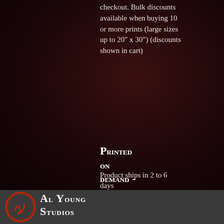checkout. Bulk discounts available when buying 10 or more prints (large sizes up to 20" x 30") (discounts shown in cart)
PRINTED ON DEMAND -
Product ships in 2 to 6 days
(Serial No. 3.22.0094.041)
[Figure (logo): Al Young Studios logo: red circle with stylized signature/brush stroke inside]
Al Young Studios